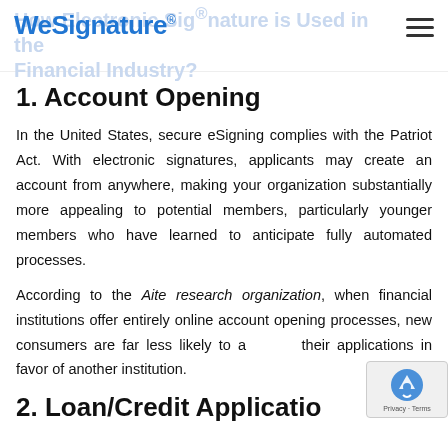WeSignature® — How Electronic Signature is Used in the Financial Industry?
1. Account Opening
In the United States, secure eSigning complies with the Patriot Act. With electronic signatures, applicants may create an account from anywhere, making your organization substantially more appealing to potential members, particularly younger members who have learned to anticipate fully automated processes.
According to the Aite research organization, when financial institutions offer entirely online account opening processes, new consumers are far less likely to abandon their applications in favor of another institution.
2. Loan/Credit Application